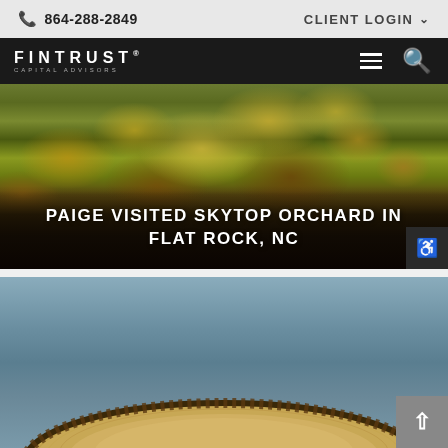864-288-2849   CLIENT LOGIN
FINTRUST CAPITAL ADVISORS
[Figure (photo): Aerial view of autumn forest with yellow and red foliage at Skytop Orchard in Flat Rock, NC]
PAIGE VISITED SKYTOP ORCHARD IN FLAT ROCK, NC
[Figure (photo): Close-up of a wooden board or surface with decorative carved edge pattern against a blue-grey sky background]